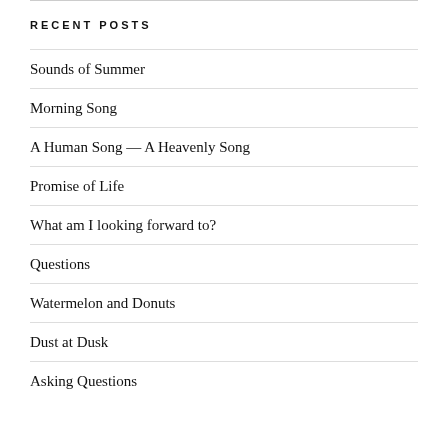RECENT POSTS
Sounds of Summer
Morning Song
A Human Song — A Heavenly Song
Promise of Life
What am I looking forward to?
Questions
Watermelon and Donuts
Dust at Dusk
Asking Questions